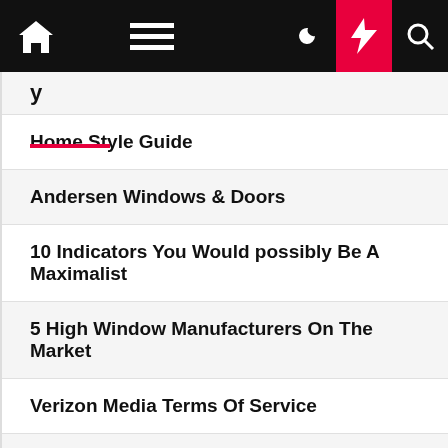Navigation bar with home icon, menu icon, moon icon, lightning icon (active/red), and search icon
Home Style Guide
Andersen Windows & Doors
10 Indicators You Would possibly Be A Maximalist
5 High Window Manufacturers On The Market
Verizon Media Terms Of Service
Trendy Furniture And Decor For Your Home And Workplace
Trendy Gadget
Residence Model Guide